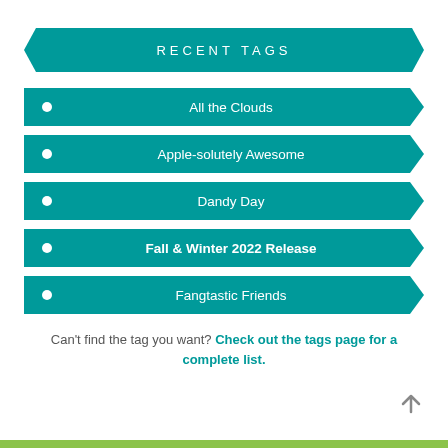RECENT TAGS
All the Clouds
Apple-solutely Awesome
Dandy Day
Fall & Winter 2022 Release
Fangtastic Friends
Can't find the tag you want? Check out the tags page for a complete list.